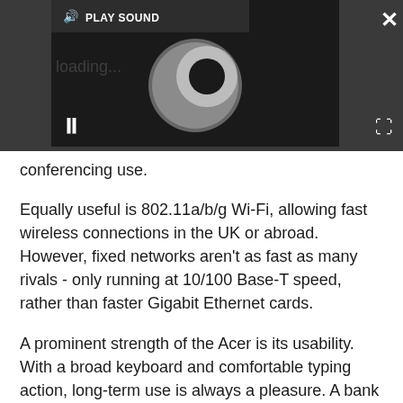[Figure (screenshot): Video player overlay on dark grey background with 'PLAY SOUND' button at top left, a circular loading/spinner icon in the center, a pause button (||) at bottom left, a close (×) button at top right, and an expand arrows icon at bottom right.]
conferencing use.
Equally useful is 802.11a/b/g Wi-Fi, allowing fast wireless connections in the UK or abroad. However, fixed networks aren't as fast as many rivals - only running at 10/100 Base-T speed, rather than faster Gigabit Ethernet cards.
A prominent strength of the Acer is its usability. With a broad keyboard and comfortable typing action, long-term use is always a pleasure. A bank of hotkeys sit at the top right of the keyboard, and can be easily